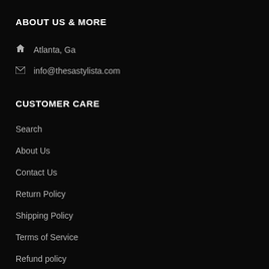ABOUT US & MORE
Atlanta, Ga
info@thesastylista.com
CUSTOMER CARE
Search
About Us
Contact Us
Return Policy
Shipping Policy
Terms of Service
Refund policy